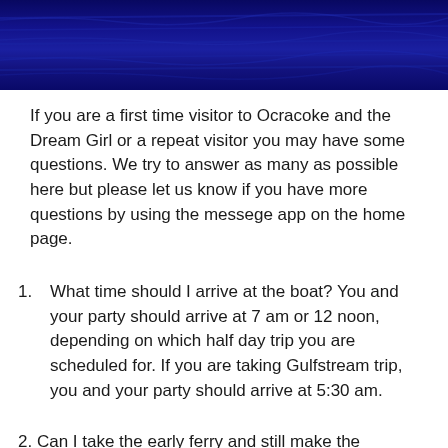[Figure (photo): Dark navy blue ocean water texture banner image at the top of the page]
If you are a first time visitor to Ocracoke and the Dream Girl or a repeat visitor you may have some questions. We try to answer as many as possible here but please let us know if you have more questions by using the messege app on the home page.
What time should I arrive at the boat? You and your party should arrive at 7 am or 12 noon, depending on which half day trip you are scheduled for. If you are taking Gulfstream trip, you and your party should arrive at 5:30 am.
Can I take the early ferry and still make the